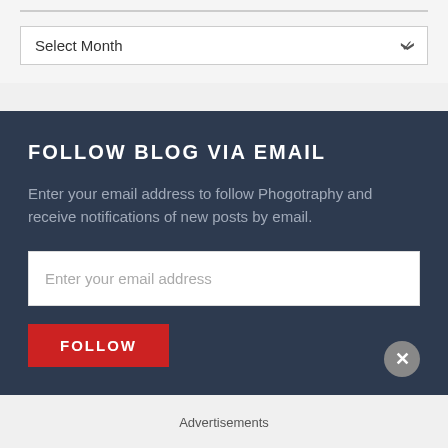[Figure (screenshot): A dropdown selector with 'Select Month' placeholder and a chevron on the right]
FOLLOW BLOG VIA EMAIL
Enter your email address to follow Phogotraphy and receive notifications of new posts by email.
[Figure (screenshot): Email address input field with placeholder 'Enter your email address']
[Figure (screenshot): Red FOLLOW button partially visible at the bottom of the dark section, with a close/X circular button on the right]
Advertisements